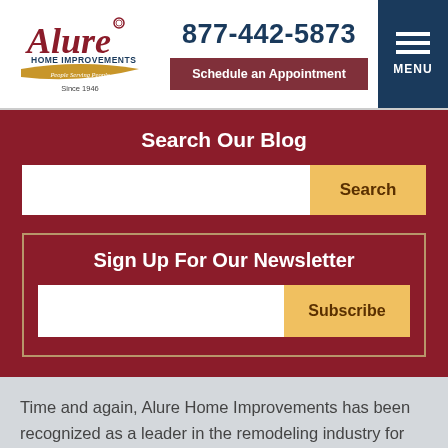[Figure (logo): Alure Home Improvements logo with red script lettering and banner reading 'Since 1946']
877-442-5873
Schedule an Appointment
[Figure (infographic): Hamburger menu icon with three white lines and MENU text on dark navy background]
Search Our Blog
Search
Sign Up For Our Newsletter
Subscribe
Time and again, Alure Home Improvements has been recognized as a leader in the remodeling industry for